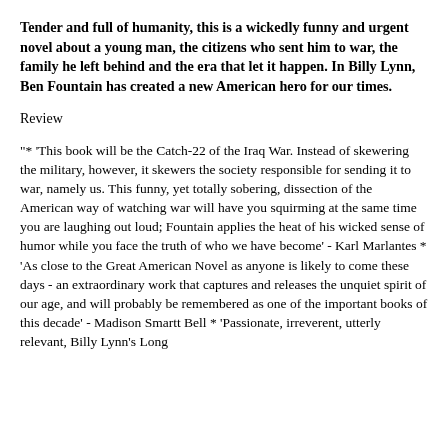Tender and full of humanity, this is a wickedly funny and urgent novel about a young man, the citizens who sent him to war, the family he left behind and the era that let it happen. In Billy Lynn, Ben Fountain has created a new American hero for our times.
Review
"* 'This book will be the Catch-22 of the Iraq War. Instead of skewering the military, however, it skewers the society responsible for sending it to war, namely us. This funny, yet totally sobering, dissection of the American way of watching war will have you squirming at the same time you are laughing out loud; Fountain applies the heat of his wicked sense of humor while you face the truth of who we have become' - Karl Marlantes * 'As close to the Great American Novel as anyone is likely to come these days - an extraordinary work that captures and releases the unquiet spirit of our age, and will probably be remembered as one of the important books of this decade' - Madison Smartt Bell * 'Passionate, irreverent, utterly relevant, Billy Lynn's Long